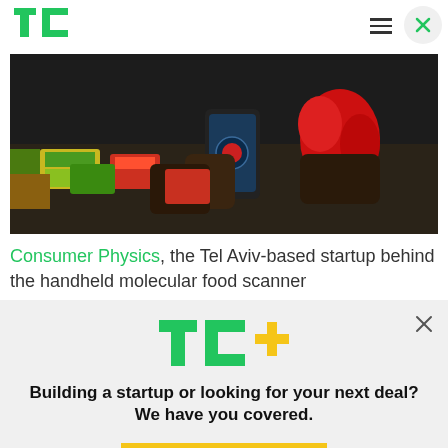TechCrunch (TC) header with logo, hamburger menu, and close button
[Figure (photo): Hands holding a red pepper and scanning it with a smartphone in a lab/event setting with colorful items on a table]
Consumer Physics, the Tel Aviv-based startup behind the handheld molecular food scanner
[Figure (logo): TC+ logo with green TC letters and yellow plus sign]
Building a startup or looking for your next deal? We have you covered.
EXPLORE NOW